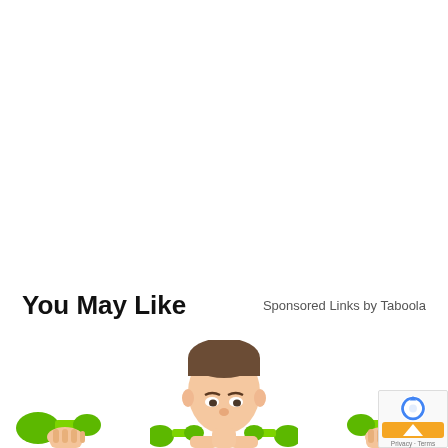You May Like
Sponsored Links by Taboola
[Figure (photo): Person holding green dumbbells, left panel, cropped at bottom of page]
[Figure (photo): Young boy with short hair holding green dumbbells, center panel, cropped at bottom of page]
[Figure (photo): Person holding green dumbbells, right panel, cropped at bottom of page, partially covered by reCAPTCHA badge]
[Figure (other): reCAPTCHA badge overlay with recaptcha logo, up arrow button, Privacy and Terms text]